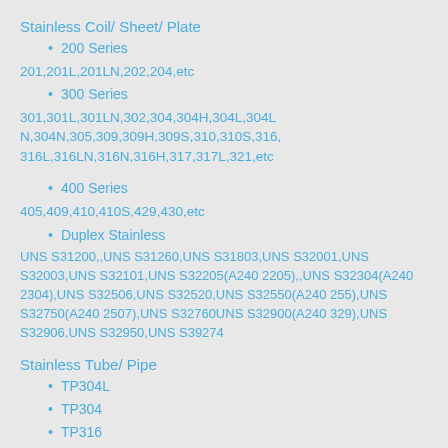Stainless Coil/ Sheet/ Plate
200 Series
201,201L,201LN,202,204,etc
300 Series
301,301L,301LN,302,304,304H,304L,304LN,304N,305,309,309H,309S,310,310S,316,316L,316LN,316N,316H,317,317L,321,etc
400 Series
405,409,410,410S,429,430,etc
Duplex Stainless
UNS S31200,,UNS S31260,UNS S31803,UNS S32001,UNS S32003,UNS S32101,UNS S32205(A240 2205),,UNS S32304(A240 2304),UNS S32506,UNS S32520,UNS S32550(A240 255),UNS S32750(A240 2507),UNS S32760UNS S32900(A240 329),UNS S32906,UNS S32950,UNS S39274
Stainless Tube/ Pipe
TP304L
TP304
TP316